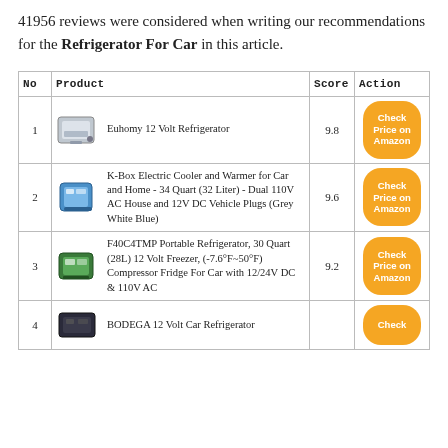41956 reviews were considered when writing our recommendations for the Refrigerator For Car in this article.
| No | Product | Score | Action |
| --- | --- | --- | --- |
| 1 | Euhomy 12 Volt Refrigerator | 9.8 | Check Price on Amazon |
| 2 | K-Box Electric Cooler and Warmer for Car and Home - 34 Quart (32 Liter) - Dual 110V AC House and 12V DC Vehicle Plugs (Grey White Blue) | 9.6 | Check Price on Amazon |
| 3 | F40C4TMP Portable Refrigerator, 30 Quart (28L) 12 Volt Freezer, (-7.6°F~50°F) Compressor Fridge For Car with 12/24V DC & 110V AC | 9.2 | Check Price on Amazon |
| 4 | BODEGA 12 Volt Car Refrigerator |  | Check |